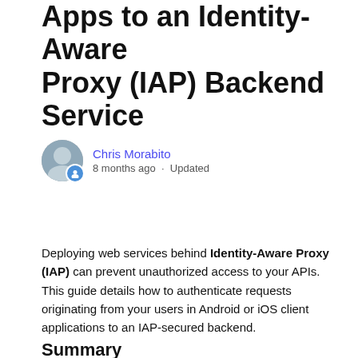Apps to an Identity-Aware Proxy (IAP) Backend Service
Chris Morabito
8 months ago · Updated
Follow
Deploying web services behind Identity-Aware Proxy (IAP) can prevent unauthorized access to your APIs. This guide details how to authenticate requests originating from your users in Android or iOS client applications to an IAP-secured backend.
Summary